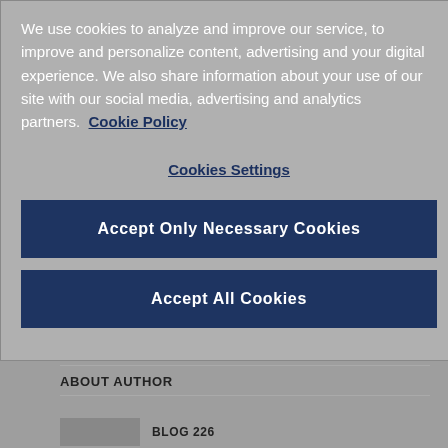We use cookies to analyze and improve our service, to improve and personalize content, advertising and your digital experience. We also share information about your use of our site with our social media, advertising and analytics partners. Cookie Policy
Cookies Settings
Accept Only Necessary Cookies
Accept All Cookies
Blog 226
day 3
MIPCube
MIPTV
social wrap
ABOUT AUTHOR
BLOG 226